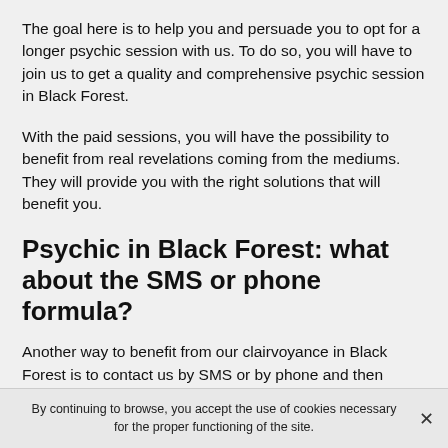The goal here is to help you and persuade you to opt for a longer psychic session with us. To do so, you will have to join us to get a quality and comprehensive psychic session in Black Forest.
With the paid sessions, you will have the possibility to benefit from real revelations coming from the mediums. They will provide you with the right solutions that will benefit you.
Psychic in Black Forest: what about the SMS or phone formula?
Another way to benefit from our clairvoyance in Black Forest is to contact us by SMS or by phone and then commit to a paid session. You have the possibility to get a free initial session with clairvoyancein Black Forest. The
By continuing to browse, you accept the use of cookies necessary for the proper functioning of the site.